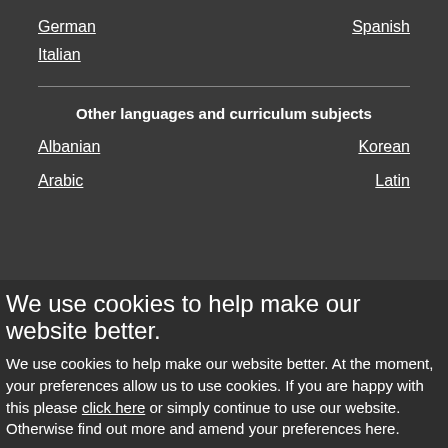German
Spanish
Italian
Other languages and curriculum subjects
Albanian
Korean
Arabic
Latin
We use cookies to help make our website better.
We use cookies to help make our website better. At the moment, your preferences allow us to use cookies. If you are happy with this please click here or simply continue to use our website. Otherwise find out more and amend your preferences here.